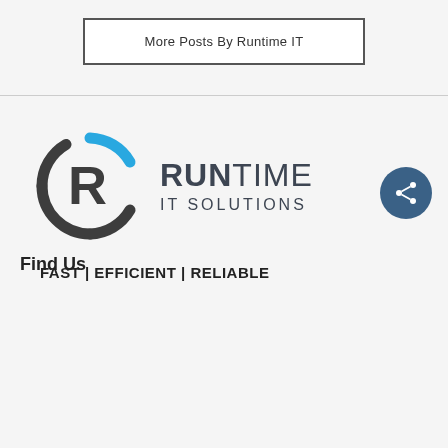More Posts By Runtime IT
[Figure (logo): Runtime IT Solutions logo with stylized R icon in dark gray and blue circle arc, with text RUNTIME IT SOLUTIONS in dark gray]
FAST | EFFICIENT | RELIABLE
Find Us